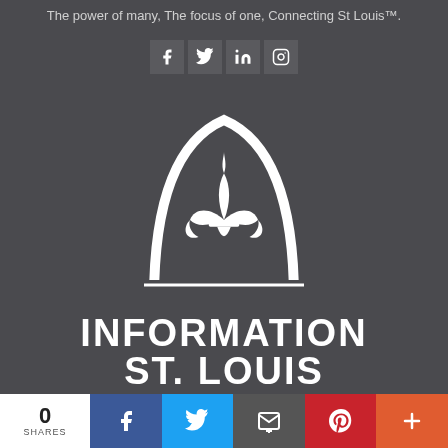The power of many, The focus of one, Connecting St Louis™.
[Figure (logo): Social media icon buttons: Facebook, Twitter, LinkedIn, Instagram in dark square boxes]
[Figure (logo): Information St. Louis logo: Gateway Arch with fleur-de-lis inside, text INFORMATION ST. LOUIS below]
0 SHARES
[Figure (infographic): Social share bar with Facebook (blue), Twitter (light blue), Email (dark gray), Pinterest (red), More (orange) buttons]